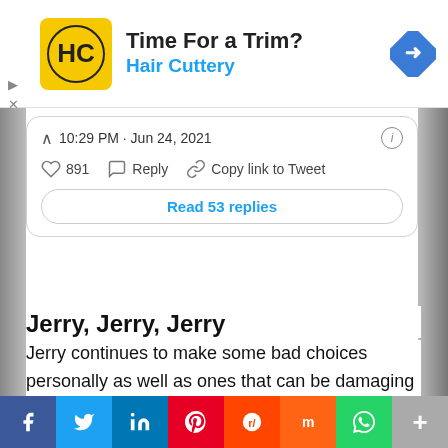[Figure (screenshot): Advertisement banner for Hair Cuttery with logo, headline 'Time For a Trim?' and navigation icon]
10:29 PM · Jun 24, 2021
891  Reply  Copy link to Tweet
Read 53 replies
Jerry, Jerry, Jerry
Jerry continues to make some bad choices personally as well as ones that can be damaging to the case. Harry is working long hours while Jerry visits a strip club. Edgar arrives to work smelling like smoke and debauchery. Harry scolds him again as
[Figure (screenshot): Social share bar with icons for Facebook, Twitter, LinkedIn, Pinterest, Reddit, Mix, WhatsApp, and More]